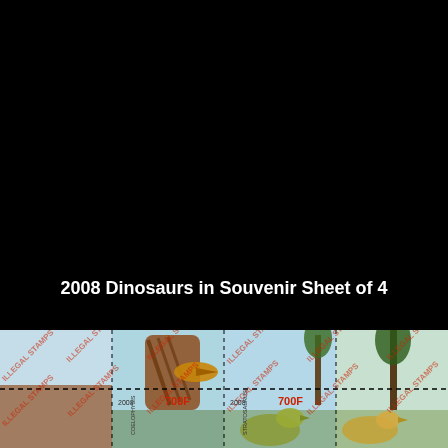2008 Dinosaurs in Souvenir Sheet of 4
[Figure (photo): Souvenir sheet of 4 postage stamps featuring dinosaurs (2008). The sheet shows prehistoric dinosaur illustrations with perforated edges between stamps. Visible text on stamps includes '2008', '700F', species names like 'COELOPHYSIS' and 'STRATOSAURUS', and diagonal red 'ILLEGAL STAMPS' watermark text overlaid across the sheet.]